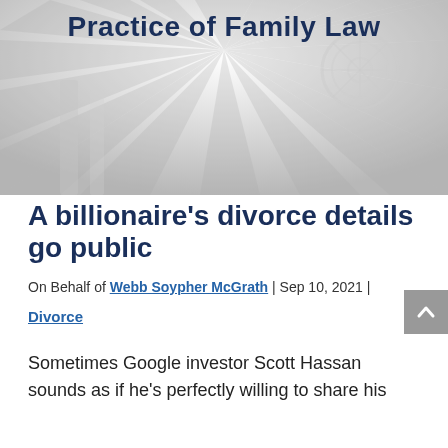[Figure (photo): Gray-toned hero banner image showing a courthouse or ornate ceiling interior with sunray pattern, overlaid with bold dark blue heading text 'Practice of Family Law']
A billionaire’s divorce details go public
On Behalf of Webb Soypher McGrath | Sep 10, 2021 |
Divorce
Sometimes Google investor Scott Hassan sounds as if he’s perfectly willing to share his